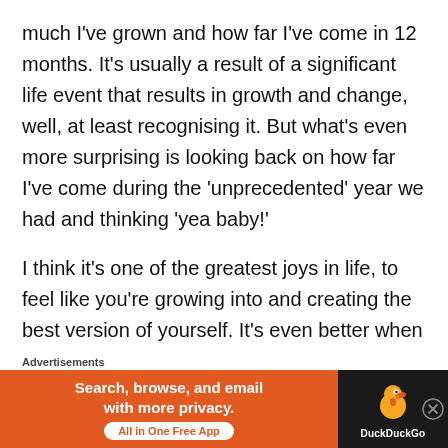much I've grown and how far I've come in 12 months. It's usually a result of a significant life event that results in growth and change, well, at least recognising it. But what's even more surprising is looking back on how far I've come during the 'unprecedented' year we had and thinking 'yea baby!'
I think it's one of the greatest joys in life, to feel like you're growing into and creating the best version of yourself. It's even better when the people around you bring out the best of you too. I'm not sure if it's the new ink I have, the adventure I've just been on, the
[Figure (other): DuckDuckGo advertisement banner with orange left section reading 'Search, browse, and email with more privacy. All in One Free App' and dark right section with DuckDuckGo duck logo.]